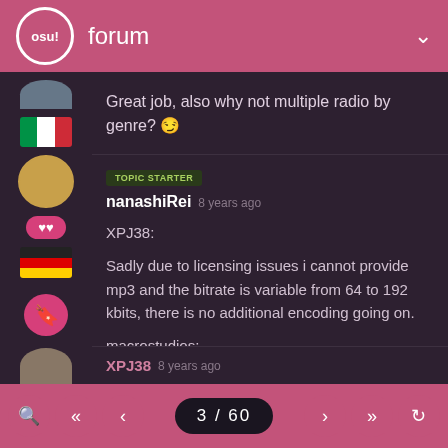osu! forum
Great job, also why not multiple radio by genre? 😁
TOPIC STARTER
nanashiRei 8 years ago
XPJ38:

Sadly due to licensing issues i cannot provide mp3 and the bitrate is variable from 64 to 192 kbits, there is no additional encoding going on.

macrostudios:

Thanks. There could maybe be such a thing in future, no promisses thought.
XPJ38 8 years ago
3 / 60